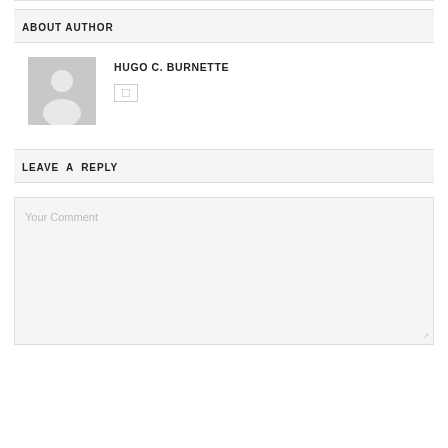ABOUT AUTHOR
[Figure (illustration): Generic avatar/profile silhouette placeholder image on grey background]
HUGO C. BURNETTE
LEAVE A REPLY
Your Comment